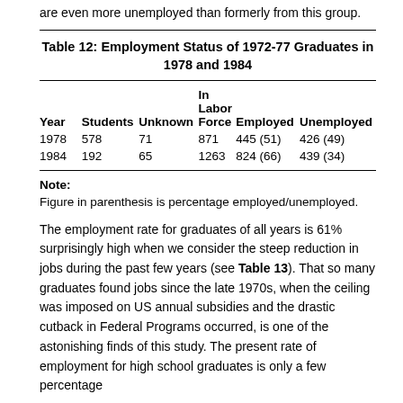are even more unemployed than formerly from this group.
Table 12: Employment Status of 1972-77 Graduates in 1978 and 1984
| Year | Students | Unknown | In Labor Force | Employed | Unemployed |
| --- | --- | --- | --- | --- | --- |
| 1978 | 578 | 71 | 871 | 445 (51) | 426 (49) |
| 1984 | 192 | 65 | 1263 | 824 (66) | 439 (34) |
Note: Figure in parenthesis is percentage employed/unemployed.
The employment rate for graduates of all years is 61% surprisingly high when we consider the steep reduction in jobs during the past few years (see Table 13). That so many graduates found jobs since the late 1970s, when the ceiling was imposed on US annual subsidies and the drastic cutback in Federal Programs occurred, is one of the astonishing finds of this study. The present rate of employment for high school graduates is only a few percentage